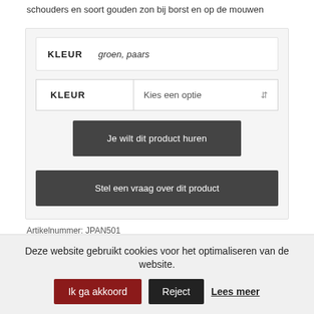schouders en soort gouden zon bij borst en op de mouwen
| KLEUR |  |
| --- | --- |
| KLEUR | groen, paars |
Je wilt dit product huren
Stel een vraag over dit product
Artikelnummer: JPAN501
Categorie: Chinese kleding
Deze website gebruikt cookies voor het optimaliseren van de website.
Ik ga akkoord
Reject
Lees meer